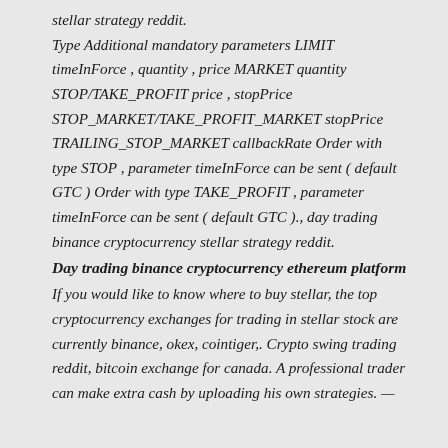stellar strategy reddit.
Type Additional mandatory parameters LIMIT timeInForce , quantity , price MARKET quantity STOP/TAKE_PROFIT price , stopPrice STOP_MARKET/TAKE_PROFIT_MARKET stopPrice TRAILING_STOP_MARKET callbackRate Order with type STOP , parameter timeInForce can be sent ( default GTC ) Order with type TAKE_PROFIT , parameter timeInForce can be sent ( default GTC )., day trading binance cryptocurrency stellar strategy reddit.
Day trading binance cryptocurrency ethereum platform
If you would like to know where to buy stellar, the top cryptocurrency exchanges for trading in stellar stock are currently binance, okex, cointiger,. Crypto swing trading reddit, bitcoin exchange for canada. A professional trader can make extra cash by uploading his own strategies. —